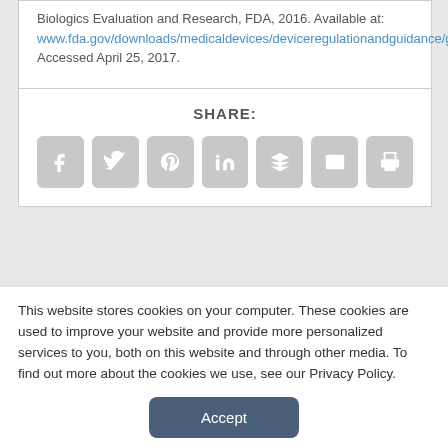Biologics Evaluation and Research, FDA, 2016. Available at: www.fda.gov/downloads/medicaldevices/deviceregulationandguidance/guidancedocuments/ucm509837.pdf. Accessed April 25, 2017.
SHARE:
[Figure (other): Social share icons: Facebook, Twitter, Pinterest, LinkedIn, Buffer/layers, Email, Print]
This website stores cookies on your computer. These cookies are used to improve your website and provide more personalized services to you, both on this website and through other media. To find out more about the cookies we use, see our Privacy Policy.
Accept